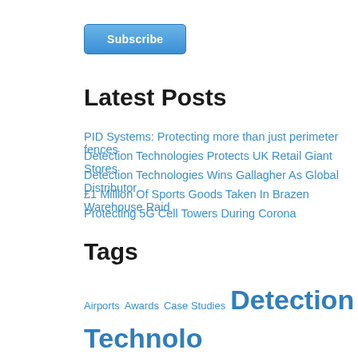[Figure (other): Blue Subscribe button]
Latest Posts
PID Systems: Protecting more than just perimeter fences
Detection Technologies Protects UK Retail Giant Stores
Detection Technologies Wins Gallagher As Global Distributor
£1 Million Of Sports Goods Taken In Brazen Warehouse Raid
Protecting 5G Cell Towers During Corona
Tags
Airports  Awards  Case Studies  Detection Technologies  FAQ  Insider  Microphonic Sensor Cable  News  Perimeter Intrusion Detection Technology